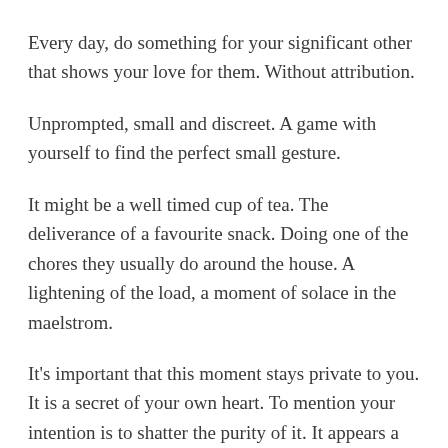Every day, do something for your significant other that shows your love for them. Without attribution.
Unprompted, small and discreet. A game with yourself to find the perfect small gesture.
It might be a well timed cup of tea. The deliverance of a favourite snack. Doing one of the chores they usually do around the house. A lightening of the load, a moment of solace in the maelstrom.
It's important that this moment stays private to you. It is a secret of your own heart. To mention your intention is to shatter the purity of it. It appears a serendipitous moment of true devotion. You know you have systemised showing love.